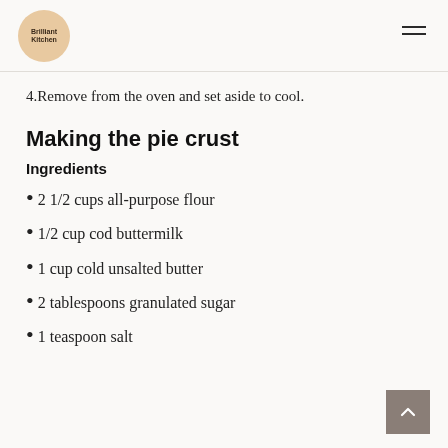Brilliant Kitchen
4.Remove from the oven and set aside to cool.
Making the pie crust
Ingredients
2 1/2 cups all-purpose flour
1/2 cup cod buttermilk
1 cup cold unsalted butter
2 tablespoons granulated sugar
1 teaspoon salt